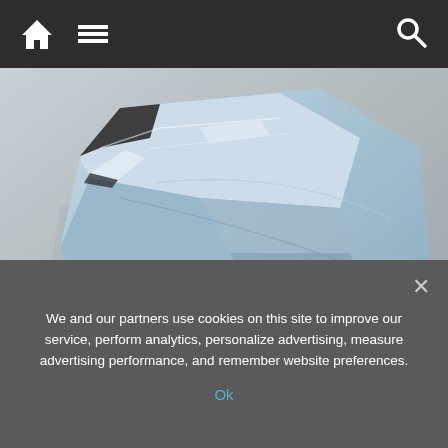Navigation bar with home icon, menu icon, and search icon
[Figure (photo): Overhead angled view of a Polestar 6 electric concept roadster in light blue/grey color, photographed from above on a light concrete surface, showing the sleek front hood, aerodynamic body, black wheels, and dramatic styling lines.]
New Polestar 6 special edition roadster sold out ahead of 2026 launch
We and our partners use cookies on this site to improve our service, perform analytics, personalize advertising, measure advertising performance, and remember website preferences.
Ok